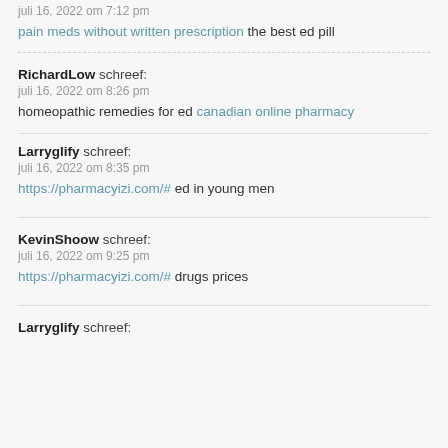juli 16, 2022 om 7:12 pm
pain meds without written prescription the best ed pill
RichardLow schreef:
juli 16, 2022 om 8:26 pm
homeopathic remedies for ed canadian online pharmacy
Larryglify schreef:
juli 16, 2022 om 8:35 pm
https://pharmacyizi.com/# ed in young men
KevinShoow schreef:
juli 16, 2022 om 9:25 pm
https://pharmacyizi.com/# drugs prices
Larryglify schreef: